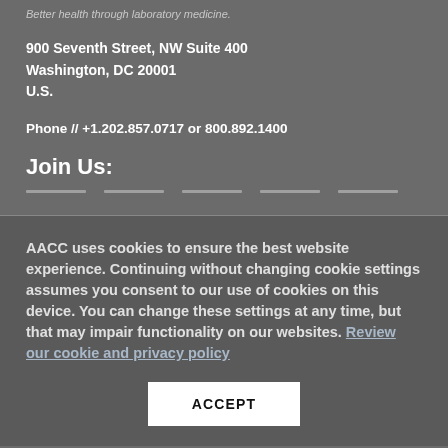Better health through laboratory medicine.
900 Seventh Street, NW Suite 400
Washington, DC 20001
U.S.
Phone // +1.202.857.0717 or 800.892.1400
Join Us:
AACC uses cookies to ensure the best website experience. Continuing without changing cookie settings assumes you consent to our use of cookies on this device. You can change these settings at any time, but that may impair functionality on our websites. Review our cookie and privacy policy
ACCEPT